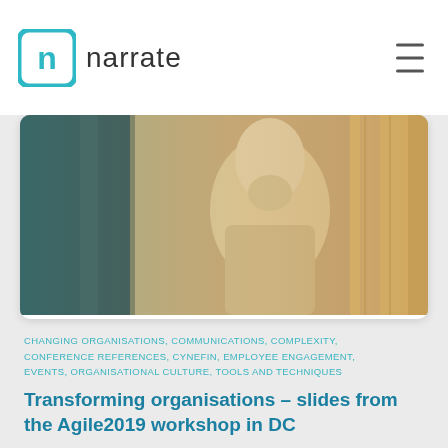narrate
[Figure (photo): Close-up photo of the Lincoln Memorial statue with columns, tinted with teal-to-orange gradient overlay]
CHANGING ORGANISATIONS, COMMUNICATIONS, COMPLEXITY, CONFERENCE REFERENCES, CYNEFIN, EMPLOYEE ENGAGEMENT, EVENTS, ORGANISATIONAL CULTURE, TOOLS AND TECHNIQUES
Transforming organisations – slides from the Agile2019 workshop in DC